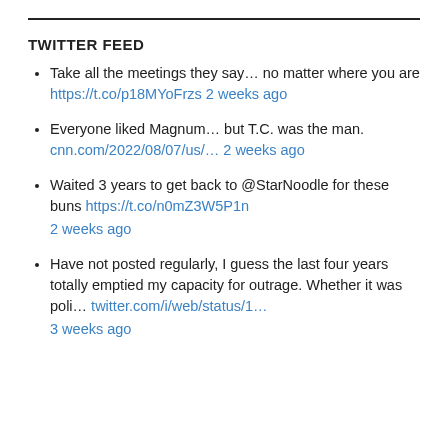TWITTER FEED
Take all the meetings they say… no matter where you are https://t.co/p18MYoFrzs 2 weeks ago
Everyone liked Magnum… but T.C. was the man. cnn.com/2022/08/07/us/… 2 weeks ago
Waited 3 years to get back to @StarNoodle for these buns https://t.co/n0mZ3W5P1n 2 weeks ago
Have not posted regularly, I guess the last four years totally emptied my capacity for outrage. Whether it was poli… twitter.com/i/web/status/1… 3 weeks ago